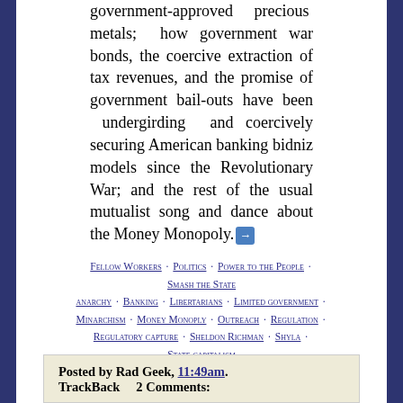government-approved precious metals; how government war bonds, the coercive extraction of tax revenues, and the promise of government bail-outs have been undergirding and coercively securing American banking bidniz models since the Revolutionary War; and the rest of the usual mutualist song and dance about the Money Monopoly.
Fellow Workers · Politics · Power to the People · Smash the State
anarchy · banking · libertarians · limited government · minarchism · money monoply · outreach · regulation · regulatory capture · sheldon richman · shyla · state capitalism
Posted by Rad Geek, 11:49am.
TrackBack    2 Comments: